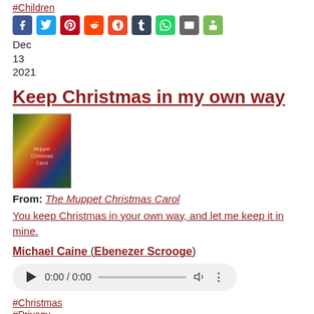#Children
[Figure (other): Social media share buttons: Facebook, Twitter, Pinterest, Reddit, StumbleUpon, Tumblr, WhatsApp, Email, Share]
Dec
13
2021
Keep Christmas in my own way
[Figure (photo): Movie cover image for The Muppet Christmas Carol]
From: The Muppet Christmas Carol
You keep Christmas in your own way, and let me keep it in mine.
Michael Caine (Ebenezer Scrooge)
[Figure (other): Audio player showing 0:00 / 0:00 with play button, progress bar, volume icon, and more options]
#Christmas
#Privacy
#Trusted